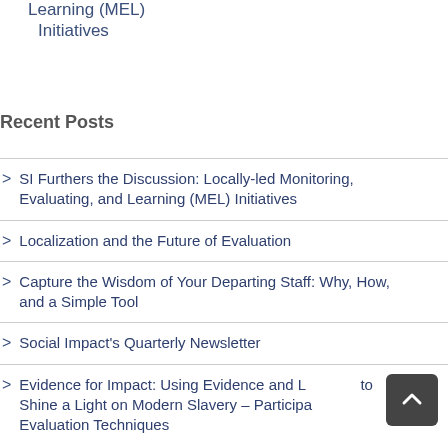Learning (MEL) Initiatives
Recent Posts
SI Furthers the Discussion: Locally-led Monitoring, Evaluating, and Learning (MEL) Initiatives
Localization and the Future of Evaluation
Capture the Wisdom of Your Departing Staff: Why, How, and a Simple Tool
Social Impact's Quarterly Newsletter
Evidence for Impact: Using Evidence and Learning to Shine a Light on Modern Slavery – Participatory Evaluation Techniques